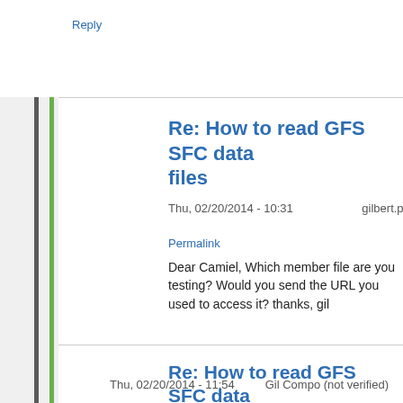Reply
Re: How to read GFS SFC data files
Thu, 02/20/2014 - 10:31    gilbert.p.comp…
Permalink
Dear Camiel, Which member file are you testing? Would you send the URL you used to access it? thanks, gil
Reply
Re: How to read GFS SFC data files
Thu, 02/20/2014 - 11:54    Gil Compo (not verified)